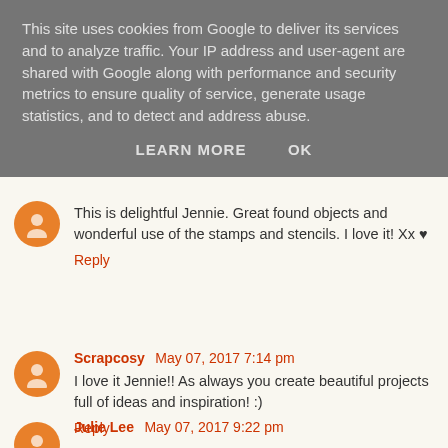This site uses cookies from Google to deliver its services and to analyze traffic. Your IP address and user-agent are shared with Google along with performance and security metrics to ensure quality of service, generate usage statistics, and to detect and address abuse.
LEARN MORE    OK
This is delightful Jennie. Great found objects and wonderful use of the stamps and stencils. I love it! Xx ♥
Reply
Scrapcosy May 07, 2017 7:14 pm
I love it Jennie!! As always you create beautiful projects full of ideas and inspiration! :)
Reply
Julie Lee May 07, 2017 9:22 pm